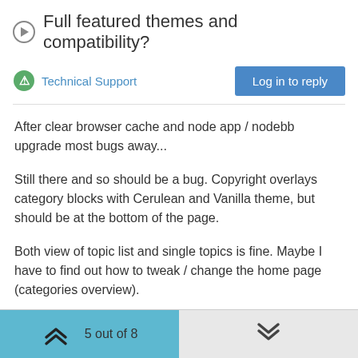Full featured themes and compatibility?
Technical Support
After clear browser cache and node app / nodebb upgrade most bugs away...
Still there and so should be a bug. Copyright overlays category blocks with Cerulean and Vanilla theme, but should be at the bottom of the page.
Both view of topic list and single topics is fine. Maybe I have to find out how to tweak / change the home page (categories overview).
5 out of 8